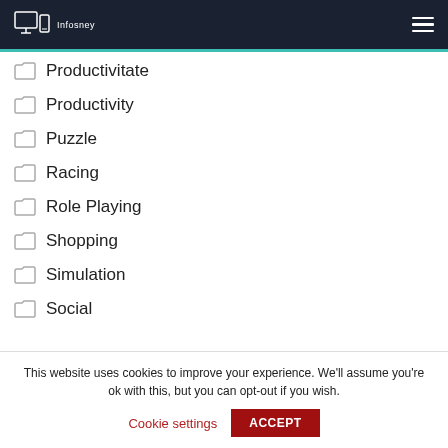Infosney [logo with computer/phone icon] [hamburger menu]
Productivitate
Productivity
Puzzle
Racing
Role Playing
Shopping
Simulation
Social
This website uses cookies to improve your experience. We'll assume you're ok with this, but you can opt-out if you wish.
Cookie settings  ACCEPT